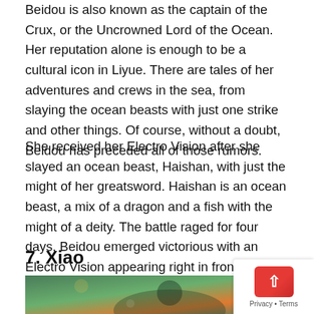Beidou is also known as the captain of the Crux, or the Uncrowned Lord of the Ocean. Her reputation alone is enough to be a cultural icon in Liyue. There are tales of her adventures and crews in the sea, from slaying the ocean beasts with just one strike and other things. Of course, without a doubt, Beidou has preceded all of those rumors.
She received her Electro Vision after she slayed an ocean beast, Haishan, with just the might of her greatsword. Haishan is an ocean beast, a mix of a dragon and a fish with the might of a deity. The battle raged for four days, Beidou emerged victorious with an Electro Vision appearing right in front of her as if it's the reward for her triumph.
7. Xiao
[Figure (photo): A colorful in-game screenshot showing a character (Xiao) from the game Genshin Impact, with vibrant green, orange, and teal hues in the background.]